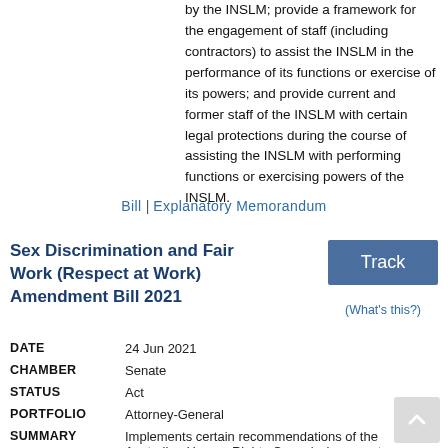by the INSLM; provide a framework for the engagement of staff (including contractors) to assist the INSLM in the performance of its functions or exercise of its powers; and provide current and former staff of the INSLM with certain legal protections during the course of assisting the INSLM with performing functions or exercising powers of the INSLM.
Bill  |  Explanatory Memorandum
Sex Discrimination and Fair Work (Respect at Work) Amendment Bill 2021
Track
(What's this?)
| Field | Value |
| --- | --- |
| DATE | 24 Jun 2021 |
| CHAMBER | Senate |
| STATUS | Act |
| PORTFOLIO | Attorney-General |
| SUMMARY | Implements certain recommendations of the Australian Human Rights Commission report, |